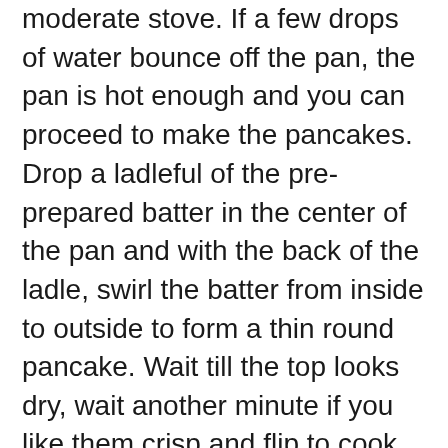moderate stove. If a few drops of water bounce off the pan, the pan is hot enough and you can proceed to make the pancakes.
Drop a ladleful of the pre-prepared batter in the center of the pan and with the back of the ladle, swirl the batter from inside to outside to form a thin round pancake. Wait till the top looks dry, wait another minute if you like them crisp and flip to cook the other side. Remove onto a plate and eat immediately with a nice coriander chutney. (Continue preparing pancakes in the same way, till you run out of batter and/or chutney. The batter will also keep in the fridge for almost a week and you can prepare the pancakes when the mood strikes.)